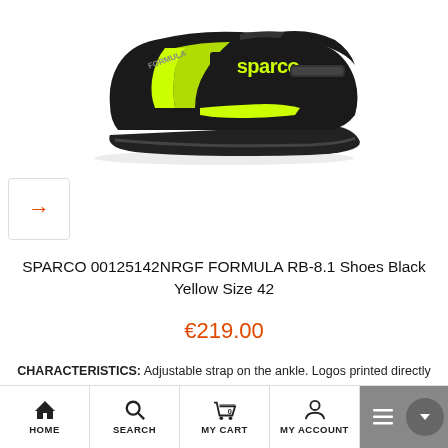[Figure (photo): Sparco Formula RB-8.1 racing shoe in black with yellow/neon green branding, side view on white background]
SPARCO 00125142NRGF FORMULA RB-8.1 Shoes Black Yellow Size 42
€219.00
CHARACTERISTICS: Adjustable strap on the ankle. Logos printed directly on the leather. Ventilated leather for breathability. Rapid and ultralight lacing system. New leather with soft-hand matte finish, secure wraparound feel: the foot is facilitated in its movements and the leather adapts to its shape. The elastic rear fabric aids the movements of the ankle. Lining in Cotton-Modacrylic fabric coupled with ultra-breathable expanded PU. Leather reinforcement side-panels to reduce impacts. Ultrathinpure rubber sole, antistatic and with a special texture for better pedal grip.
HOME  SEARCH  MY CART 0  MY ACCOUNT